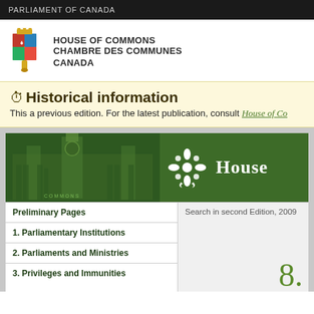PARLIAMENT OF CANADA
[Figure (logo): House of Commons / Chambre des Communes Canada crest logo with text]
Historical information
This a previous edition. For the latest publication, consult House of Co...
[Figure (illustration): Green House of Commons publication header banner with parliament building illustration and fleur-de-lis ornament, text reading HOUSE]
Preliminary Pages
1. Parliamentary Institutions
2. Parliaments and Ministries
3. Privileges and Immunities
Search in second Edition, 2009
8.